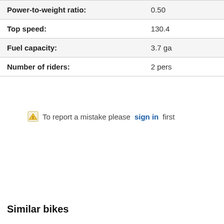| Power-to-weight ratio: | 0.50 |
| Top speed: | 130.4 |
| Fuel capacity: | 3.7 ga |
| Number of riders: | 2 pers |
To report a mistake please sign in first
Similar bikes